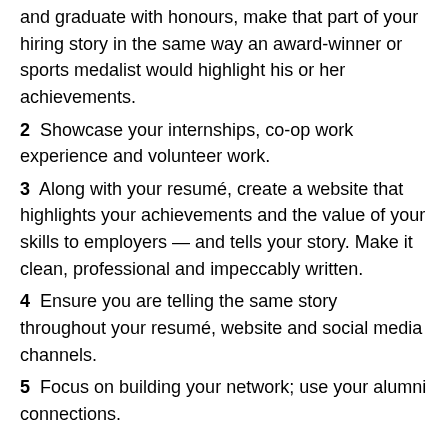and graduate with honours, make that part of your hiring story in the same way an award-winner or sports medalist would highlight his or her achievements.
2  Showcase your internships, co-op work experience and volunteer work.
3  Along with your resumé, create a website that highlights your achievements and the value of your skills to employers — and tells your story. Make it clean, professional and impeccably written.
4  Ensure you are telling the same story throughout your resumé, website and social media channels.
5  Focus on building your network; use your alumni connections.
[Figure (screenshot): Facebook Like button showing 'Like 0', and three social media share icon buttons (Facebook, Twitter, LinkedIn)]